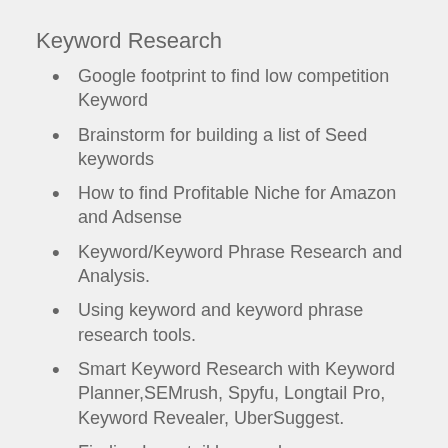Keyword Research
Google footprint to find low competition Keyword
Brainstorm for building a list of Seed keywords
How to find Profitable Niche for Amazon and Adsense
Keyword/Keyword Phrase Research and Analysis.
Using keyword and keyword phrase research tools.
Smart Keyword Research with Keyword Planner,SEMrush, Spyfu, Longtail Pro, Keyword Revealer, UberSuggest.
Finding Long tail keyword